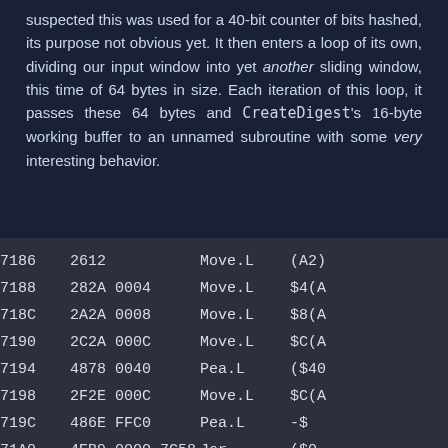suspected this was used for a 40-bit counter of bits hashed, its purpose not obvious yet. It then enters a loop of its own, dividing our input window into yet another sliding window, this time of 64 bytes in size. Each iteration of this loop, it passes these 64 bytes and CreateDigest's 16-byte working buffer to an unnamed subroutine with some very interesting behavior.
| addr | bytes | mnemonic | operand |
| --- | --- | --- | --- |
| 7186 | 2612 |  | Move.L | (A2) |
| 7188 | 282A 0004 |  | Move.L | $4(A |
| 718C | 2A2A 0008 |  | Move.L | $8(A |
| 7190 | 2C2A 000C |  | Move.L | $C(A |
| 7194 | 4878 0040 |  | Pea.L | ($40 |
| 7198 | 2F2E 000C |  | Move.L | $C(A |
| 719C | 486E FFC0 |  | Pea.L | -$ |
| 71A0 | 4EB9 0000 7C58 |  | Jsr | ($0 |